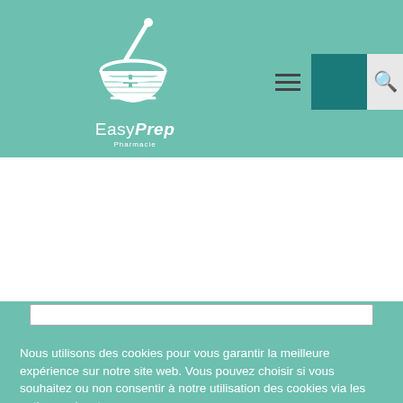[Figure (logo): EasyPrep Pharmacy logo: white mortar and pestle with a plus/cross symbol inside, on teal background, with text 'EasyPrep' (italic bold) and 'Pharmacie' below]
Nous utilisons des cookies pour vous garantir la meilleure expérience sur notre site web. Vous pouvez choisir si vous souhaitez ou non consentir à notre utilisation des cookies via les options suivantes.
Paramètres des cookies
Accepter